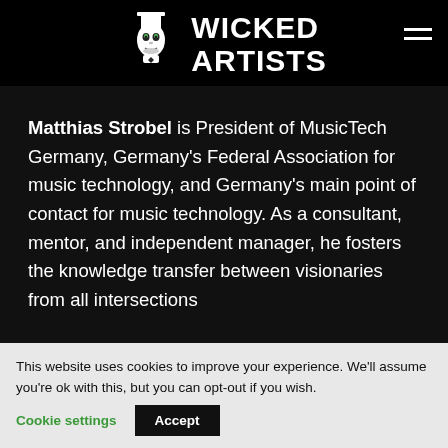[Figure (logo): Wicked Artists logo: top-hat figure illustration with bold white text 'WICKED ARTISTS' on black background]
Matthias Strobel is President of MusicTech Germany, Germany's Federal Association for music technology, and Germany's main point of contact for music technology. As a consultant, mentor, and independent manager, he fosters the knowledge transfer between visionaries from all intersections
This website uses cookies to improve your experience. We'll assume you're ok with this, but you can opt-out if you wish. Cookie settings Accept